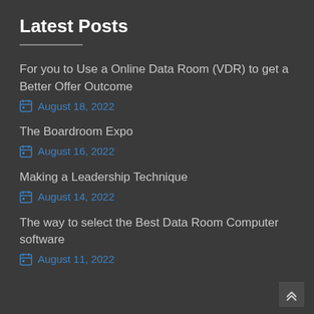Latest Posts
For you to Use a Online Data Room (VDR) to get a Better Offer Outcome
August 18, 2022
The Boardroom Expo
August 16, 2022
Making a Leadership Technique
August 14, 2022
The way to select the Best Data Room Computer software
August 11, 2022